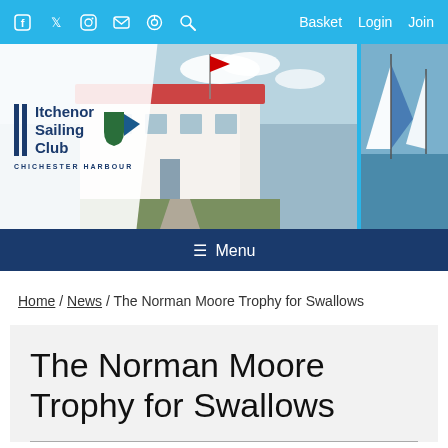f ✓ @ ✉ ⊙ 🔍   Basket  Login  Join
[Figure (photo): Itchenor Sailing Club header banner showing club logo on left, photo of white building with gardens in center, and sailing boats on water on right]
☰ Menu
Home / News / The Norman Moore Trophy for Swallows
The Norman Moore Trophy for Swallows
Published 08:33 on 9 Jun 2022